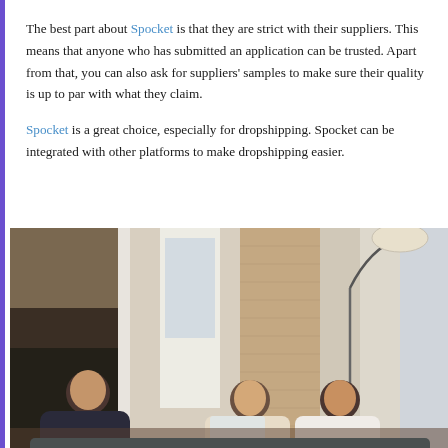The best part about Spocket is that they are strict with their suppliers. This means that anyone who has submitted an application can be trusted. Apart from that, you can also ask for suppliers' samples to make sure their quality is up to par with what they claim.
Spocket is a great choice, especially for dropshipping. Spocket can be integrated with other platforms to make dropshipping easier.
[Figure (photo): Three men sitting in a modern brick-walled office space with large windows; two men appear to be collaborating over a laptop while one sits to the side. A floor lamp is visible in the center background.]